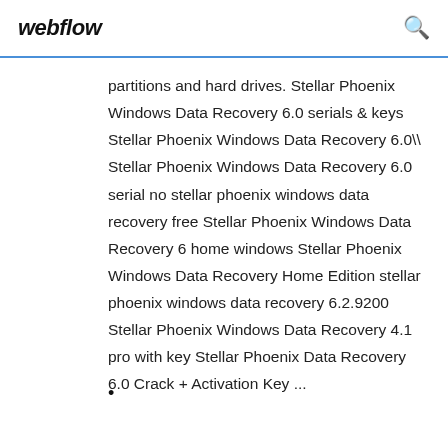webflow
partitions and hard drives. Stellar Phoenix Windows Data Recovery 6.0 serials & keys Stellar Phoenix Windows Data Recovery 6.0\ Stellar Phoenix Windows Data Recovery 6.0 serial no stellar phoenix windows data recovery free Stellar Phoenix Windows Data Recovery 6 home windows Stellar Phoenix Windows Data Recovery Home Edition stellar phoenix windows data recovery 6.2.9200 Stellar Phoenix Windows Data Recovery 4.1 pro with key Stellar Phoenix Data Recovery 6.0 Crack + Activation Key ...
•